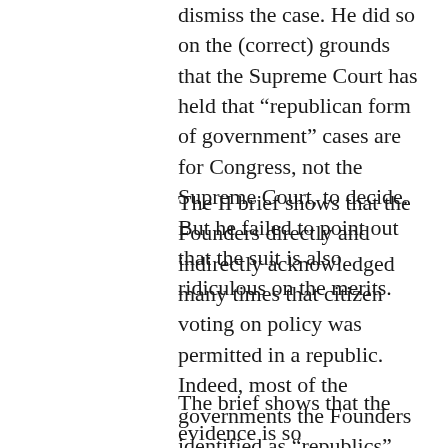dismiss the case. He did so on the (correct) grounds that the Supreme Court has held that “republican form of government” cases are for Congress, not the Supreme Court, to decide. But he failed to point out that the suit is also ridiculous on the merits.
The II brief shows that the Founders directly and indirectly acknowledged many times that citizen voting on policy was permitted in a republic. Indeed, most of the governments the Founders identified as “republics” (such as the Roman res publica and the Athenian demokratia) featured direct citizen voting—a fact both known to and discussed by the Founders.
The brief shows that the evidence is so overwhelming that even if the court rejects